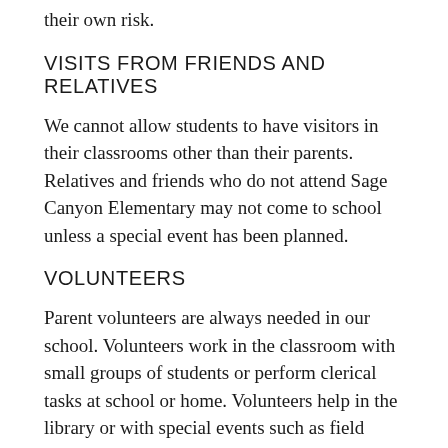their own risk.
VISITS FROM FRIENDS AND RELATIVES
We cannot allow students to have visitors in their classrooms other than their parents. Relatives and friends who do not attend Sage Canyon Elementary may not come to school unless a special event has been planned.
VOLUNTEERS
Parent volunteers are always needed in our school. Volunteers work in the classroom with small groups of students or perform clerical tasks at school or home. Volunteers help in the library or with special events such as field trips. Volunteers help with PTO events.
WEATHER
Our normal school day can be affected by the weather. School closures and delays are made with student safety